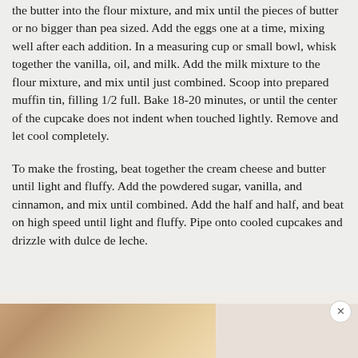the butter into the flour mixture, and mix until the pieces of butter or no bigger than pea sized. Add the eggs one at a time, mixing well after each addition. In a measuring cup or small bowl, whisk together the vanilla, oil, and milk. Add the milk mixture to the flour mixture, and mix until just combined. Scoop into prepared muffin tin, filling 1/2 full. Bake 18-20 minutes, or until the center of the cupcake does not indent when touched lightly. Remove and let cool completely.
To make the frosting, beat together the cream cheese and butter until light and fluffy. Add the powdered sugar, vanilla, and cinnamon, and mix until combined. Add the half and half, and beat on high speed until light and fluffy. Pipe onto cooled cupcakes and drizzle with dulce de leche.
[Figure (photo): Partial image of cupcakes or baked goods visible at the bottom of the page]